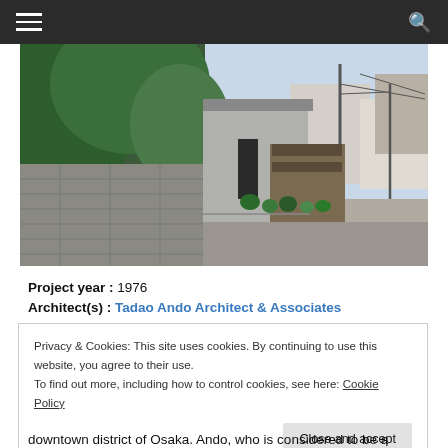Navigation bar with hamburger menu and search icon
[Figure (photo): Street-level photograph of a Japanese urban alley in Osaka showing a concrete building on the left side, traditional Japanese townhouses with potted plants along the street, utility poles with wires, and a residential building in the background under a clear sky.]
Project year : 1976
Architect(s) : Tadao Ando Architect & Associates
Privacy & Cookies: This site uses cookies. By continuing to use this website, you agree to their use.
To find out more, including how to control cookies, see here: Cookie Policy
Close and accept
downtown district of Osaka. Ando, who is considered to be a